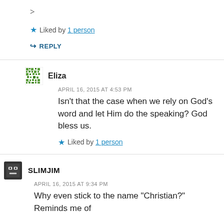>
★ Liked by 1 person
↳ REPLY
Eliza
APRIL 16, 2015 AT 4:53 PM
Isn't that the case when we rely on God's word and let Him do the speaking? God bless us.
★ Liked by 1 person
SLIMJIM
APRIL 16, 2015 AT 9:34 PM
Why even stick to the name "Christian?" Reminds me of